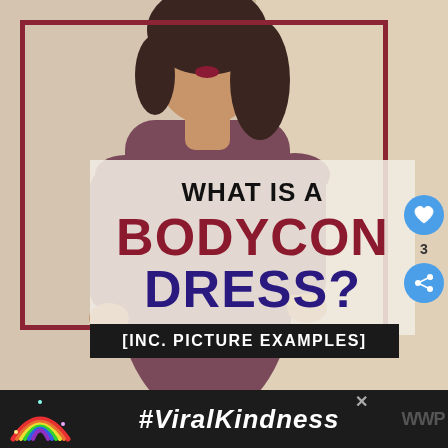[Figure (photo): Woman wearing a mauve/burgundy form-fitting bodycon dress posed against a light wall, with a dark red rectangular border frame overlay]
WHAT IS A BODYCON DRESS? [INC. PICTURE EXAMPLES]
[INC. PICTURE EXAMPLES]
[Figure (infographic): Social media like button (blue circle with heart icon) showing count of 3, and share button (blue circle with share icon)]
#ViralKindness